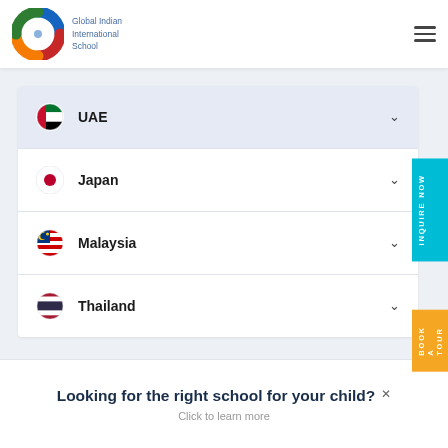[Figure (logo): Global Indian International School logo — circular swirl icon in blue, red, green, yellow with school name text]
UAE
Japan
Malaysia
Thailand
Looking for the right school for your child?
Click to learn more